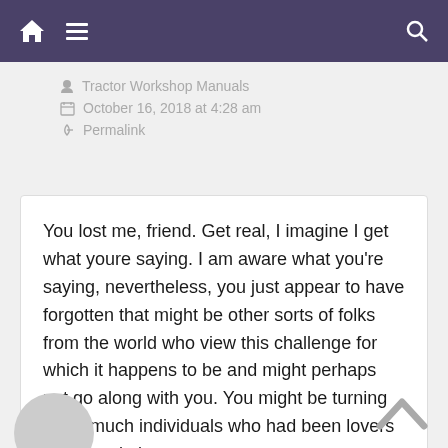Navigation bar with home, menu, and search icons
Tractor Workshop Manuals
October 16, 2018 at 4:28 am
Permalink
You lost me, friend. Get real, I imagine I get what youre saying. I am aware what you're saying, nevertheless, you just appear to have forgotten that might be other sorts of folks from the world who view this challenge for which it happens to be and might perhaps not go along with you. You might be turning away much individuals who had been lovers of this website.